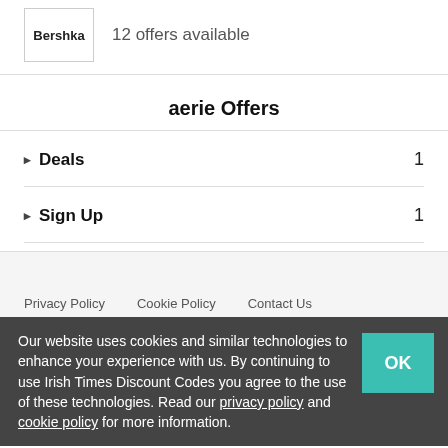Bershka — 12 offers available
aerie Offers
Deals — 1
Sign Up — 1
Privacy Policy   Cookie Policy   Contact Us
Our website uses cookies and similar technologies to enhance your experience with us. By continuing to use Irish Times Discount Codes you agree to the use of these technologies. Read our privacy policy and cookie policy for more information.